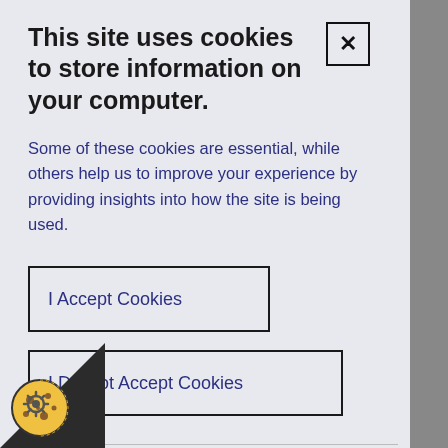This site uses cookies to store information on your computer.
Some of these cookies are essential, while others help us to improve your experience by providing insights into how the site is being used.
I Accept Cookies
I Do Not Accept Cookies
Necessary Cookies
ecessary cookies enable core functionality such as navigation and access to secure areas